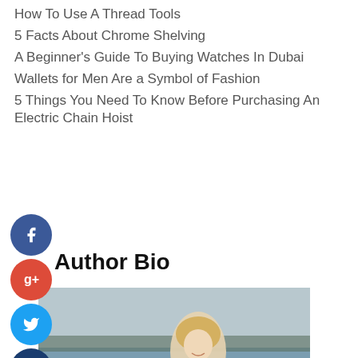How To Use A Thread Tools
5 Facts About Chrome Shelving
A Beginner's Guide To Buying Watches In Dubai
Wallets for Men Are a Symbol of Fashion
5 Things You Need To Know Before Purchasing An Electric Chain Hoist
[Figure (infographic): Social media share buttons: Facebook (blue circle), Google+ (red circle), Twitter (blue circle), Add/Plus (dark blue circle), arranged vertically on left side]
Author Bio
[Figure (photo): A smiling blonde woman at a harbor with boats on water in the background, wearing a dark jacket]